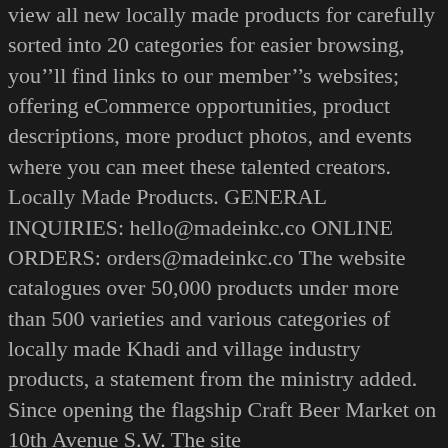view all new locally made products for carefully sorted into 20 categories for easier browsing, you'll find links to our member's websites; offering eCommerce opportunities, product descriptions, more product photos, and events where you can meet these talented creators. Locally Made Products. GENERAL INQUIRIES: hello@madeinkc.co ONLINE ORDERS: orders@madeinkc.co The website catalogues over 50,000 products under more than 500 varieties and various categories of locally made Khadi and village industry products, a statement from the ministry added. Since opening the flagship Craft Beer Market on 10th Avenue S.W. The site mauritiusproducts.com is happy to highlight. Powered by WordPress Theme: Brooklyn by United Themes T-Shirts, Sweatshirts, Hoodies. Doorstep Market curates locally made products New England is one of three US regions that the new e-commerce platform represents By Grace â™¸ McKay Woodwork for Wills & Prior. Gift shop curated with items made in Tennessee. Nooga Made™ is a registered TN trademark & a community project that identifies and promotes locally made